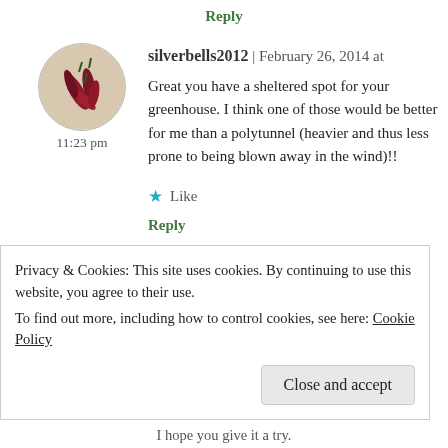Reply
silverbells2012 | February 26, 2014 at 11:23 pm
Great you have a sheltered spot for your greenhouse. I think one of those would be better for me than a polytunnel (heavier and thus less prone to being blown away in the wind)!!
★ Like
Reply
Privacy & Cookies: This site uses cookies. By continuing to use this website, you agree to their use.
To find out more, including how to control cookies, see here: Cookie Policy
Close and accept
I hope you give it a try.